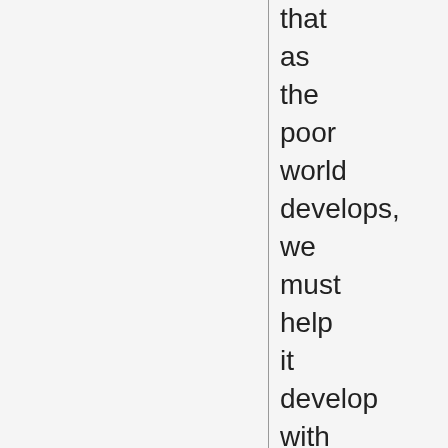that as the poor world develops, we must help it develop with renewable rather than finite/carbon-